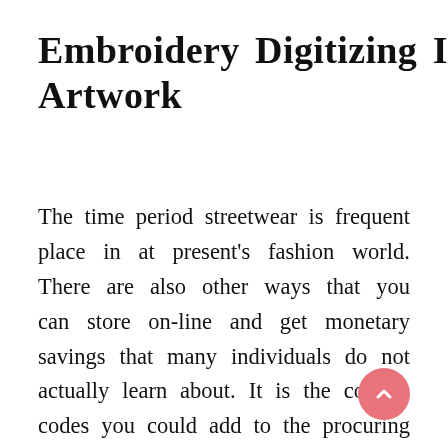Embroidery Digitizing Is An Artwork
The time period streetwear is frequent place in at present's fashion world. There are also other ways that you can store on-line and get monetary savings that many individuals do not actually learn about. It is the coupon codes you could add to the procuring basket and get a discount. That is free and can save you some huge cash. There are many sites that will accept codes from shopping domains to grocery stores on-line many of